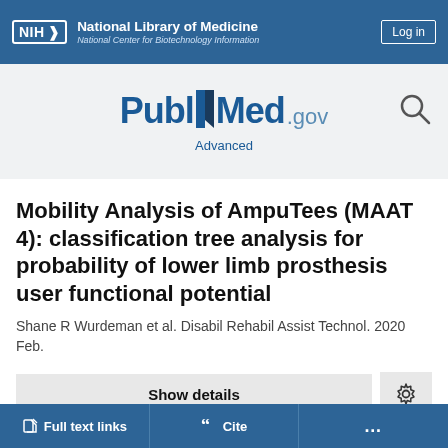[Figure (logo): NIH National Library of Medicine / National Center for Biotechnology Information header logo with Log in button]
[Figure (logo): PubMed.gov logo with search icon and Advanced link]
Mobility Analysis of AmpuTees (MAAT 4): classification tree analysis for probability of lower limb prosthesis user functional potential
Shane R Wurdeman et al. Disabil Rehabil Assist Technol. 2020 Feb.
Show details
Full text links
Cite
...